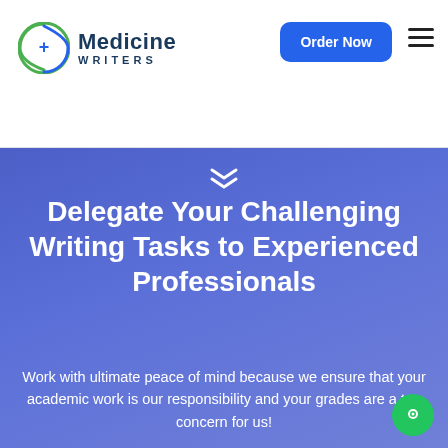Medicine Writers — Order Now
Delegate Your Challenging Writing Tasks to Experienced Professionals
Work with ultimate peace of mind because we ensure that your academic work is our responsibility and your grades are a top concern for us!